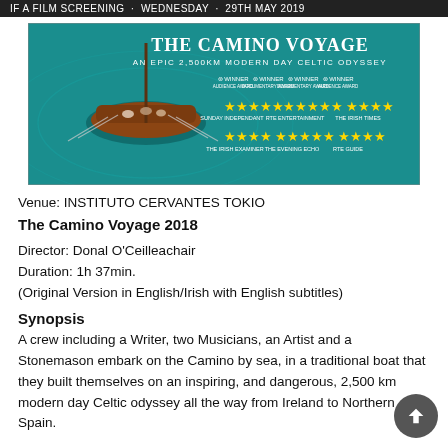IF A FILM SCREENING - WEDNESDAY - 29TH MAY 2019
[Figure (photo): Movie poster for 'The Camino Voyage - An Epic 2,500km Modern Day Celtic Odyssey' showing aerial view of a traditional wooden boat on teal water, with star ratings from Sunday Independent (5 stars), RTE Entertainment (5 stars), The Irish Times (4 stars), The Irish Examiner (4 stars), The Evening Echo (5 stars), RTE Guide (4 stars), and four Winner award laurels.]
Venue: INSTITUTO CERVANTES TOKIO
The Camino Voyage 2018
Director: Donal O'Ceilleachair
Duration: 1h 37min.
(Original Version in English/Irish with English subtitles)
Synopsis
A crew including a Writer, two Musicians, an Artist and a Stonemason embark on the Camino by sea, in a traditional boat that they built themselves on an inspiring, and dangerous, 2,500 km modern day Celtic odyssey all the way from Ireland to Northern Spain.